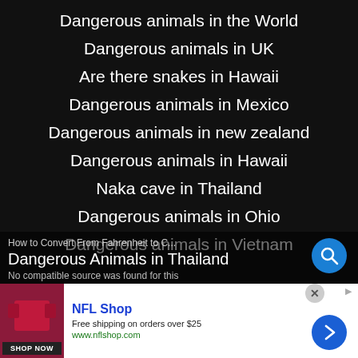Dangerous animals in the World
Dangerous animals in UK
Are there snakes in Hawaii
Dangerous animals in Mexico
Dangerous animals in new zealand
Dangerous animals in Hawaii
Naka cave in Thailand
Dangerous animals in Ohio
Dangerous animals in Vietnam
Dangerous Animals in Thailand
How to Convert From Fahrenheit to C...
No compatible source was found for this
[Figure (screenshot): NFL Shop advertisement with logo, shop now button, free shipping text, and nflshop.com URL. Blue navigation arrow button on right.]